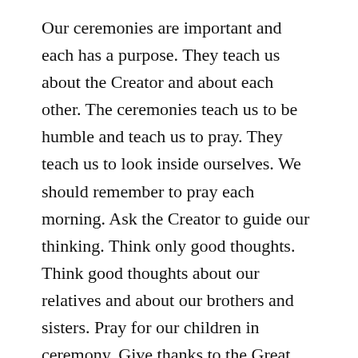Our ceremonies are important and each has a purpose. They teach us about the Creator and about each other. The ceremonies teach us to be humble and teach us to pray. They teach us to look inside ourselves. We should remember to pray each morning. Ask the Creator to guide our thinking. Think only good thoughts. Think good thoughts about our relatives and about our brothers and sisters. Pray for our children in ceremony. Give thanks to the Great Mystery of life. All life is sacred. Pray in a sacred way.
Oh Great Spirit, I come to You this morning in ceremony. I come to this sacred place to talk to You. I thank You for Your guidance and protection. Give me Your eyes today so I may see the beauty in all things.